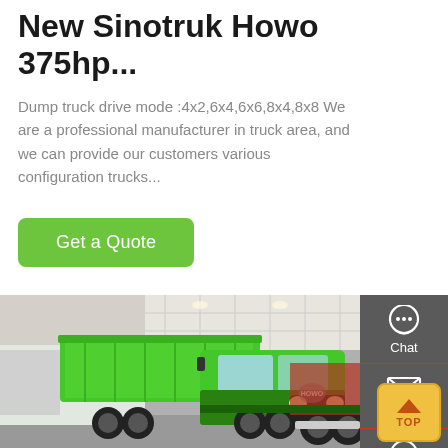New Sinotruk Howo 375hp...
Dump truck drive mode :4x2,6x4,6x6,8x4,8x8 We are a professional manufacturer in truck area, and we can provide our customers various configuration trucks...
Get a Quote
[Figure (photo): Green Sinotruk Howo dump truck displayed at an exhibition hall, with other trucks visible in the background.]
Chat
Email
Contact
TOP